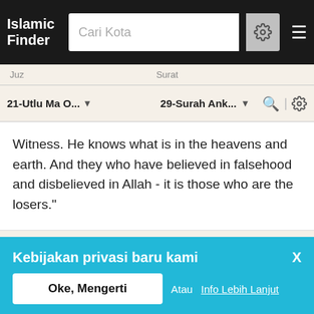Islamic Finder
Cari Kota
Juz   Surat
21-Utlu Ma O...   29-Surah Ank...
Witness. He knows what is in the heavens and earth. And they who have believed in falsehood and disbelieved in Allah - it is those who are the losers."
Kebijakan privasi baru kami
We have updated our privacy policies according to CCPA and GDPR rules and regulations for Californian and EU citizens respectively. If you continue using our website, then you have agreed to our Terms of Use and Privacy Policy.
Oke, Mengerti   Atau Info Lebih Lanjut